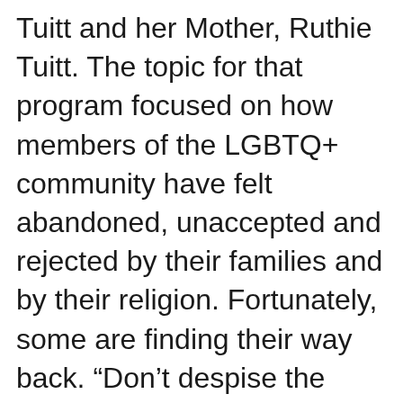Tuitt and her Mother, Ruthie Tuitt. The topic for that program focused on how members of the LGBTQ+ community have felt abandoned, unaccepted and rejected by their families and by their religion. Fortunately, some are finding their way back. “Don’t despise the packaging” is what GloriTuitt’s Mother, Ruthie Tuitt, said…”Just because it’s not packaged the way in which you feel it should be, does not mean it’s not a blessing..” She goes on to say that her